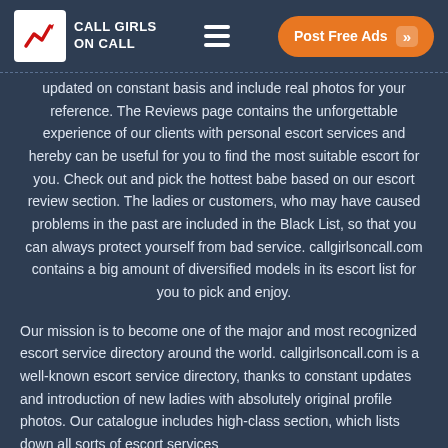CALL GIRLS ON CALL | Post Free Ads
updated on constant basis and include real photos for your reference. The Reviews page contains the unforgettable experience of our clients with personal escort services and hereby can be useful for you to find the most suitable escort for you. Check out and pick the hottest babe based on our escort review section. The ladies or customers, who may have caused problems in the past are included in the Black List, so that you can always protect yourself from bad service. callgirlsoncall.com contains a big amount of diversified models in its escort list for you to pick and enjoy.
Our mission is to become one of the major and most recognized escort service directory around the world. callgirlsoncall.com is a well-known escort service directory, thanks to constant updates and introduction of new ladies with absolutely original profile photos. Our catalogue includes high-class section, which lists down all sorts of escort services